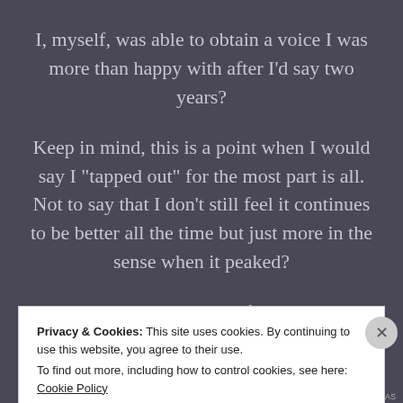I, myself, was able to obtain a voice I was more than happy with after I'd say two years?
Keep in mind, this is a point when I would say I "tapped out" for the most part is all. Not to say that I don't still feel it continues to be better all the time but just more in the sense when it peaked?
It takes a decent amount of time is all my point
Privacy & Cookies: This site uses cookies. By continuing to use this website, you agree to their use.
To find out more, including how to control cookies, see here: Cookie Policy
Close and accept